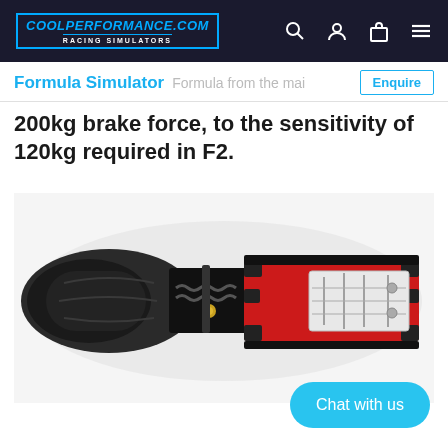COOLPERFORMANCE.COM RACING SIMULATORS
Formula Simulator
200kg brake force, to the sensitivity of 120kg required in F2.
[Figure (photo): Top-down view of a formula racing simulator chassis, showing a black molded seat on the left transitioning to a red and black mechanical pedal/frame assembly on the right, with visible springs and mechanical components.]
Chat with us